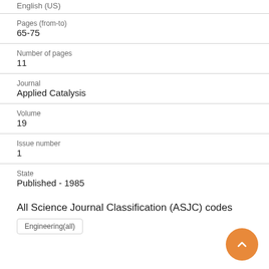English (US)
Pages (from-to)
65-75
Number of pages
11
Journal
Applied Catalysis
Volume
19
Issue number
1
State
Published - 1985
All Science Journal Classification (ASJC) codes
Engineering(all)